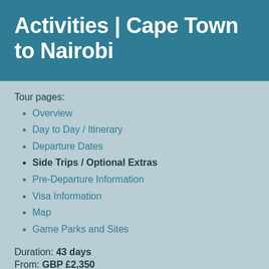Activities | Cape Town to Nairobi
Tour pages:
Overview
Day to Day / Itinerary
Departure Dates
Side Trips / Optional Extras
Pre-Departure Information
Visa Information
Map
Game Parks and Sites
Duration: 43 days
From: GBP £2,350
Plus local payment: USD $2,260 (What's this?)